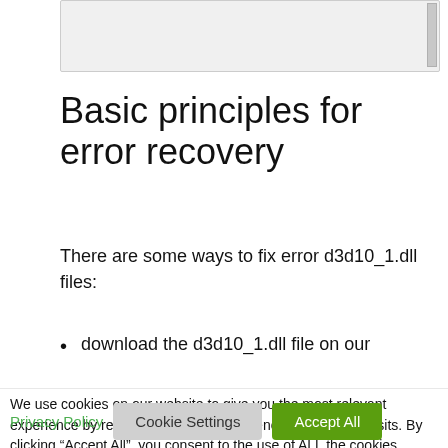[Figure (screenshot): Search bar / input field area at top of page with scrollbar indicator on right]
Basic principles for error recovery
There are some ways to fix error d3d10_1.dll files:
download the d3d10_1.dll file on our
We use cookies on our website to give you the most relevant experience by remembering your preferences and repeat visits. By clicking “Accept All”, you consent to the use of ALL the cookies. However, you may visit "Cookie Settings" to provide a controlled consent.
Privacy Policy   Cookie Settings   Accept All